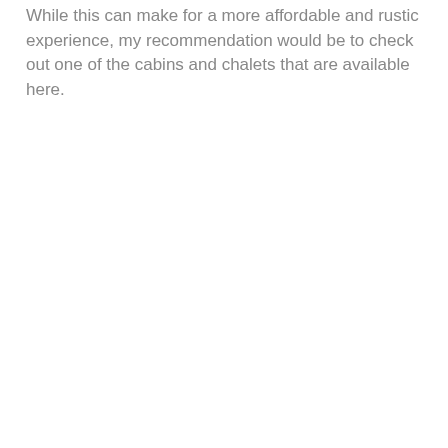While this can make for a more affordable and rustic experience, my recommendation would be to check out one of the cabins and chalets that are available here.